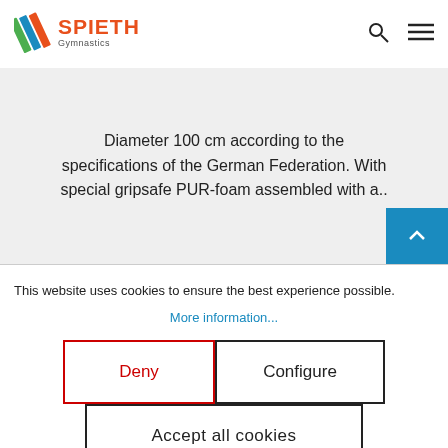[Figure (logo): Spieth Gymnastics logo with multicolor diagonal stripes icon and orange SPIETH text with gray Gymnastics subtitle]
Diameter 100 cm according to the specifications of the German Federation. With special gripsafe PUR-foam assembled with a..
This website uses cookies to ensure the best experience possible.
More information...
Deny
Configure
Accept all cookies